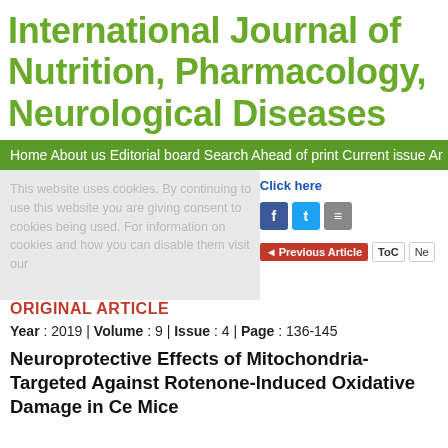International Journal of Nutrition, Pharmacology, Neurological Diseases
Home  About us  Editorial board  Search  Ahead of print  Current issue  Ar
This website uses cookies. By continuing to use this website you are giving consent to cookies being used. For information on cookies and how you can disable them visit our
Click here
ORIGINAL ARTICLE
Year : 2019 | Volume : 9 | Issue : 4 | Page : 136-145
Neuroprotective Effects of Mitochondria-Targeted Against Rotenone-Induced Oxidative Damage in Ce Mice